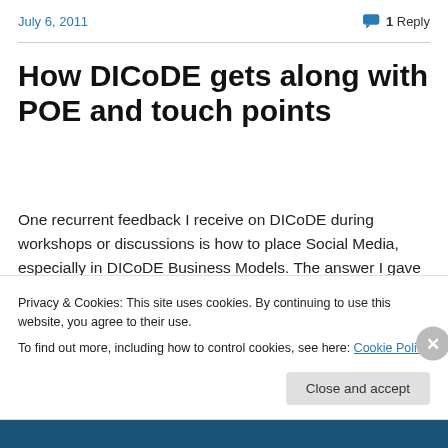July 6, 2011
1 Reply
How DICoDE gets along with POE and touch points
One recurrent feedback I receive on DICoDE during workshops or discussions is how to place Social Media, especially in DICoDE Business Models. The answer I gave until now is that DICoDE tackles distribution and consumption of digital content, but not yet...
Privacy & Cookies: This site uses cookies. By continuing to use this website, you agree to their use.
To find out more, including how to control cookies, see here: Cookie Policy
Close and accept